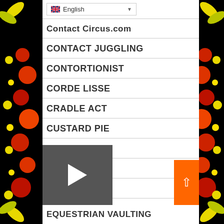English (language selector)
Contact Circus.com
CONTACT JUGGLING
CONTORTIONIST
CORDE LISSE
CRADLE ACT
CUSTARD PIE
CYR WHEEL
DANISH POLE
DEVIL STICKS
[Figure (screenshot): Video thumbnail with play button overlay]
EQUESTRIAN VAULTING